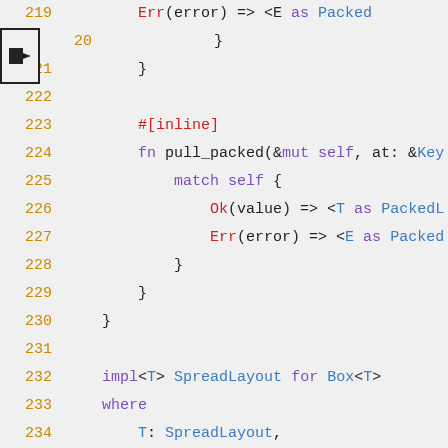[Figure (screenshot): Rust source code listing showing lines 219-237, with a right-arrow marker beside line 220. Code includes impl blocks for SpreadLayout on Box<T> and related methods.]